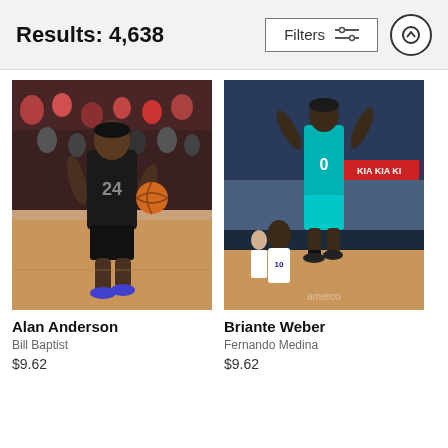Results: 4,638
Filters
[Figure (photo): NBA basketball player Alan Anderson in black LA Clippers uniform dribbling a basketball during a game, crowd visible in background]
Alan Anderson
Bill Baptist
$9.62
[Figure (photo): NBA basketball player Briante Weber in teal Charlotte Hornets uniform jumping high to shoot a basketball during a game, arena crowd and KIA signage visible in background]
Briante Weber
Fernando Medina
$9.62